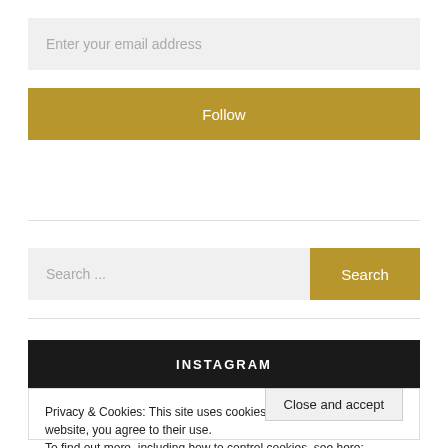Enter your email address
Follow
Search ...
Search
INSTAGRAM
Privacy & Cookies: This site uses cookies. By continuing to use this website, you agree to their use.
To find out more, including how to control cookies, see here: Cookie Policy
Close and accept